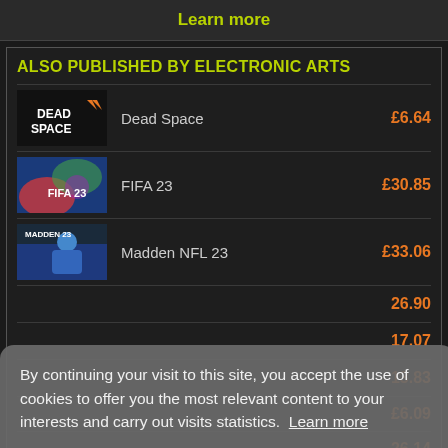Learn more
ALSO PUBLISHED BY ELECTRONIC ARTS
| Image | Game | Price |
| --- | --- | --- |
| [Dead Space thumbnail] | Dead Space | £6.64 |
| [FIFA 23 thumbnail] | FIFA 23 | £30.85 |
| [Madden NFL 23 thumbnail] | Madden NFL 23 | £33.06 |
By continuing your visit to this site, you accept the use of cookies to offer you the most relevant content to your interests and carry out visits statistics.  Learn more
Deny
Allow